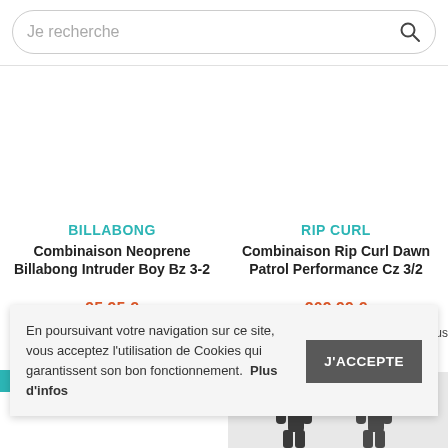[Figure (screenshot): Search bar with placeholder text 'Je recherche' and search icon on the right]
BILLABONG
Combinaison Neoprene Billabong Intruder Boy Bz 3-2
95,95 €
RIP CURL
Combinaison Rip Curl Dawn Patrol Performance Cz 3/2
209,99 €
En poursuivant votre navigation sur ce site, vous acceptez l'utilisation de Cookies qui garantissent son bon fonctionnement.  Plus d'infos
J'ACCEPTE
[Figure (photo): Wetsuit product silhouette photos at the bottom right]